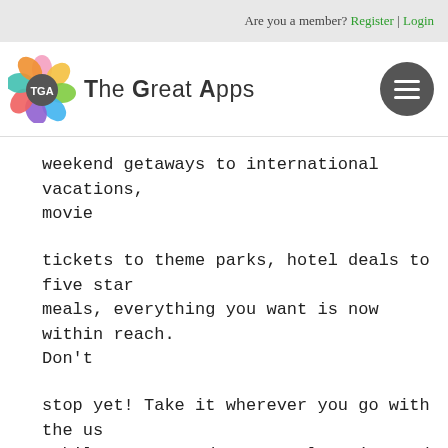Are you a member? Register | Login
[Figure (logo): The Great Apps logo with colorful flower icon and TGA text]
weekend getaways to international vacations, movie
tickets to theme parks, hotel deals to five star meals, everything you want is now within reach. Don't
stop yet! Take it wherever you go with the us mobile app. Based on your location and preference, our
smart search engine will suggest new things to explore every time you open the app. What's